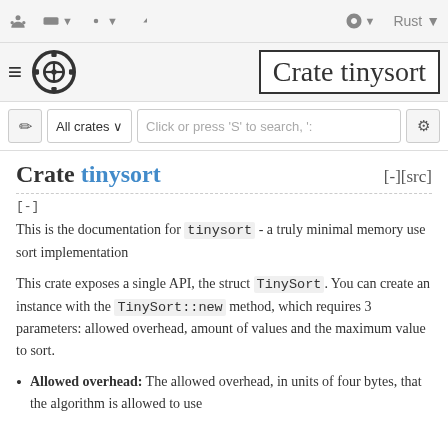Rust (toolbar with icons: All crates, search, gear)
Crate tinysort
[-]
This is the documentation for tinysort - a truly minimal memory use sort implementation
This crate exposes a single API, the struct TinySort. You can create an instance with the TinySort::new method, which requires 3 parameters: allowed overhead, amount of values and the maximum value to sort.
Allowed overhead: The allowed overhead, in units of four bytes, that the algorithm is allowed to use